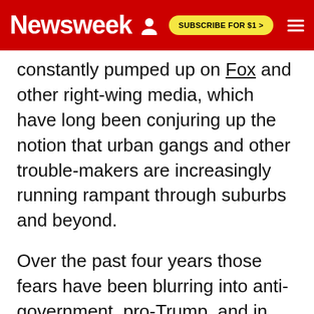Newsweek | SUBSCRIBE FOR $1 >
constantly pumped up on Fox and other right-wing media, which have long been conjuring up the notion that urban gangs and other trouble-makers are increasingly running rampant through suburbs and beyond.
Over the past four years those fears have been blurring into anti-government, pro-Trump, and in some cases white-supremacist movements. "We've seen the flourishing of a different view of gun rights, one that focuses on the necessity of owning guns in order to